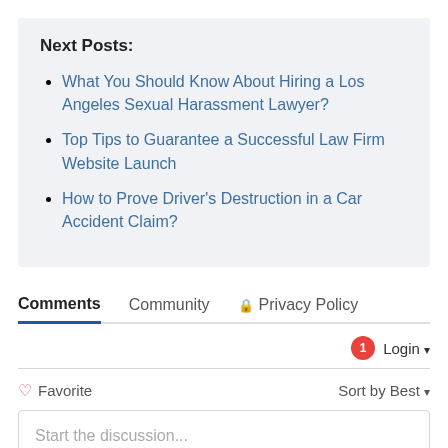Next Posts:
What You Should Know About Hiring a Los Angeles Sexual Harassment Lawyer?
Top Tips to Guarantee a Successful Law Firm Website Launch
How to Prove Driver's Destruction in a Car Accident Claim?
Comments   Community   🔒 Privacy Policy
1  Login ▾
♡ Favorite   Sort by Best ▾
Start the discussion...
LOG IN WITH